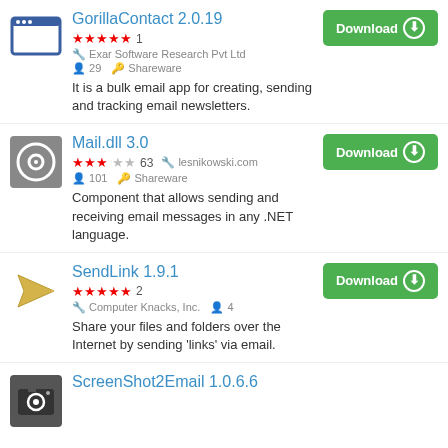GorillaContact 2.0.19 — ★★★★★ 1, Exar Software Research Pvt Ltd, 29 users, Shareware. It is a bulk email app for creating, sending and tracking email newsletters.
Mail.dll 3.0 — ★★★☆☆ 63, lesnikowski.com, 101 users, Shareware. Component that allows sending and receiving email messages in any .NET language.
SendLink 1.9.1 — ★★★★★ 2, Computer Knacks, Inc., 4 users. Share your files and folders over the Internet by sending 'links' via email.
ScreenShot2Email 1.0.6.6